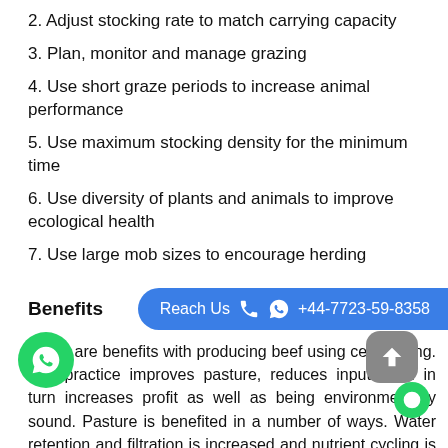2. Adjust stocking rate to match carrying capacity
3. Plan, monitor and manage grazing
4. Use short graze periods to increase animal performance
5. Use maximum stocking density for the minimum time
6. Use diversity of plants and animals to improve ecological health
7. Use large mob sizes to encourage herding
Benefits
Reach Us +44-7723-59-8358
There are benefits with producing beef using cell grazing. The practice improves pasture, reduces inputs and in turn increases profit as well as being environmentally sound. Pasture is benefited in a number of ways. Water retention and filtration is increased and nutrient cycling is improved through the populations of organisms in quality soil.